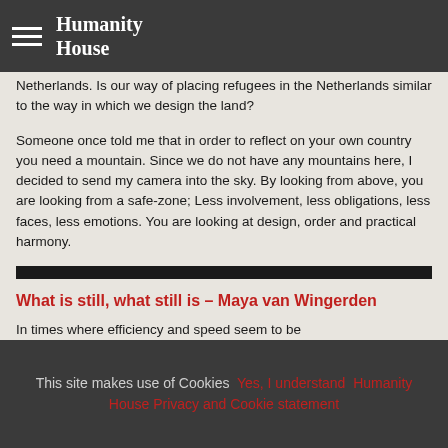Humanity House
Netherlands. Is our way of placing refugees in the Netherlands similar to the way in which we design the land?

Someone once told me that in order to reflect on your own country you need a mountain. Since we do not have any mountains here, I decided to send my camera into the sky. By looking from above, you are looking from a safe-zone; Less involvement, less obligations, less faces, less emotions. You are looking at design, order and practical harmony.
What is still, what still is – Maya van Wingerden
In times where efficiency and speed seem to be
This site makes use of Cookies   Yes, I understand   Humanity House Privacy and Cookie statement